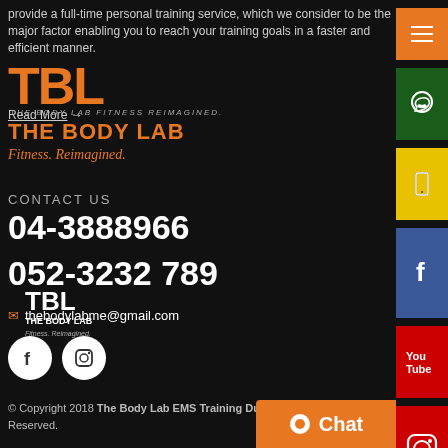provide a full-time personal training service, which we consider to be the major factor enabling you to reach your training goals in a faster and efficient manner. Read More →
[Figure (logo): TBL - The Body Lab Fitness Reimagined logo in orange]
CONTACT US
04-3888966
052-3232 789
thebodylabme@gmail.com
[Figure (logo): TBL The Body Lab white logo footer]
© Copyright 2018 The Body Lab EMS Training Dubai. All Rights Reserved.